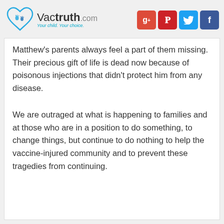Vactruth.com — Your child. Your choice.
Matthew's parents always feel a part of them missing. Their precious gift of life is dead now because of poisonous injections that didn't protect him from any disease.
We are outraged at what is happening to families and at those who are in a position to do something, to change things, but continue to do nothing to help the vaccine-injured community and to prevent these tragedies from continuing.